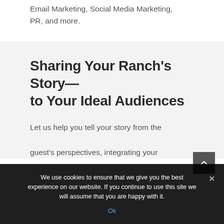Email Marketing, Social Media Marketing, PR, and more.
Sharing Your Ranch's Story—to Your Ideal Audiences
Let us help you tell your story from the guest's perspectives, integrating your
We use cookies to ensure that we give you the best experience on our website. If you continue to use this site we will assume that you are happy with it.
Ok